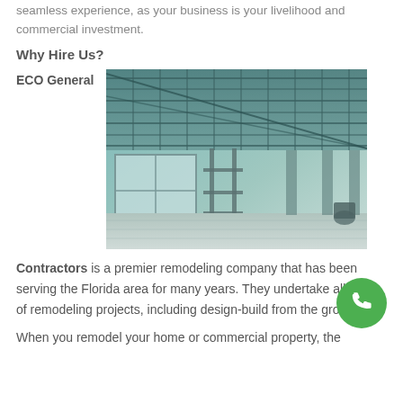seamless experience, as your business is your livelihood and commercial investment.
Why Hire Us?
ECO General
[Figure (photo): Interior of a large commercial construction site showing exposed ceiling steel framework, scaffolding, and concrete floor with large windows letting in light.]
Contractors is a premier remodeling company that has been serving the Florida area for many years. They undertake all types of remodeling projects, including design-build from the ground up.
When you remodel your home or commercial property, the